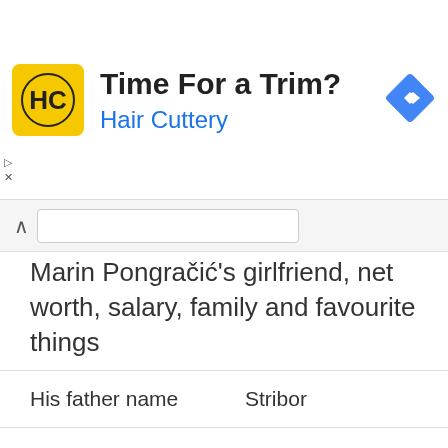[Figure (logo): Hair Cuttery advertisement banner with yellow HC logo, text 'Time For a Trim?' in bold and 'Hair Cuttery' in blue, and a blue navigation diamond icon]
Marin Pongračić's girlfriend, net worth, salary, family and favourite things
| His father name | Stribor |
| Mother name | Anđelka |
| Brother name | Unknown |
| Sister name | Unknown |